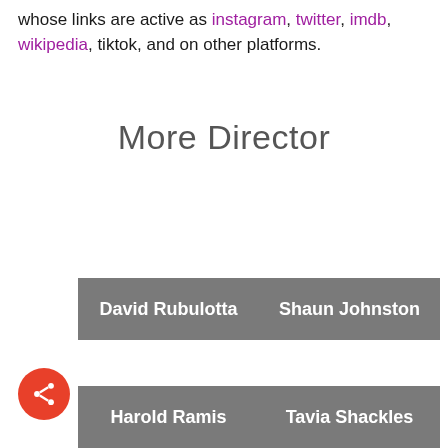whose links are active as instagram, twitter, imdb, wikipedia, tiktok, and on other platforms.
More Director
[Figure (other): Gray card row showing two director names: David Rubulotta and Shaun Johnston]
[Figure (other): Gray card row showing two director names: Harold Ramis and Tavia Shackles]
[Figure (other): Red circular share button with share icon in bottom left corner]